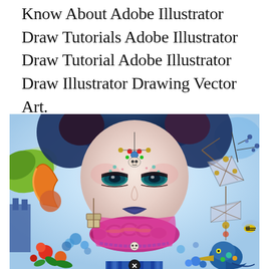Know About Adobe Illustrator Draw Tutorials Adobe Illustrator Draw Tutorial Adobe Illustrator Draw Illustrator Drawing Vector Art.
[Figure (illustration): A colorful, detailed digital illustration of a stylized female character with ornate face jewels, blue lips, decorative mechanical collar, surrounded by fantastical elements including flowers, a kite structure, a bird, and a bee, rendered in vibrant manga/vector art style.]